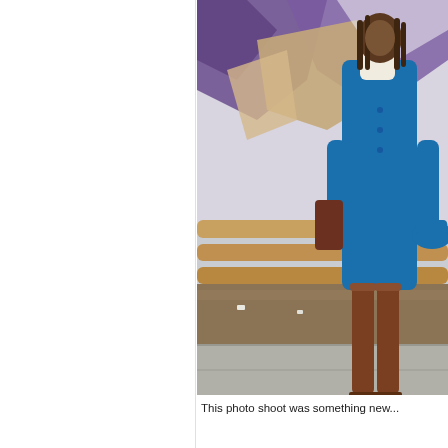[Figure (photo): A person with dreadlocks wearing a bright blue coat, white turtleneck, and brown suede knee-high boots, holding a blue hat, walking on a sidewalk in front of wooden fence rails and a peeling purple/white mural on a wall.]
This photo shoot was something new...